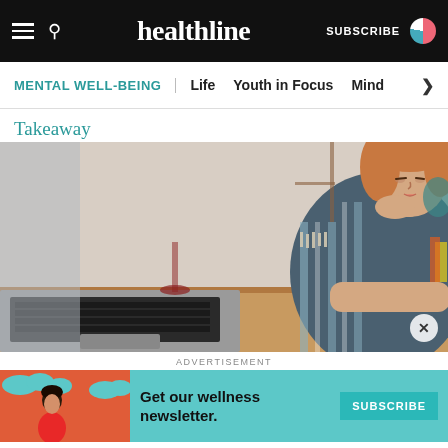healthline | SUBSCRIBE
MENTAL WELL-BEING | Life | Youth in Focus | Mind >
Takeaway
[Figure (photo): Woman with auburn hair sitting at a wooden desk, resting her chin on her hand, looking pensively at a laptop screen. She is wearing a teal and grey striped fringed cardigan. Background shows shelves with various items.]
ADVERTISEMENT
[Figure (infographic): Advertisement banner with teal background. Left side shows illustrated woman with dark hair on orange/coral background with cloud shapes. Text reads: Get our wellness newsletter. Right side has a teal SUBSCRIBE button.]